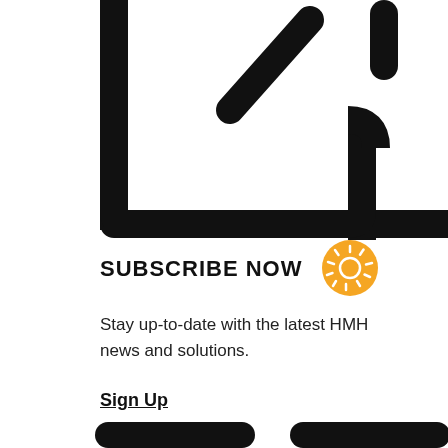[Figure (illustration): Large black icon of a tablet/clipboard with a pencil/edit symbol in the upper right corner, partially cropped at the top]
SUBSCRIBE NOW
[Figure (illustration): Golden/yellow circular sun-like or loading spinner icon overlapping the SUBSCRIBE NOW text]
Stay up-to-date with the latest HMH news and solutions.
Sign Up
[Figure (illustration): Partial black icons visible at the bottom of the page, cropped]